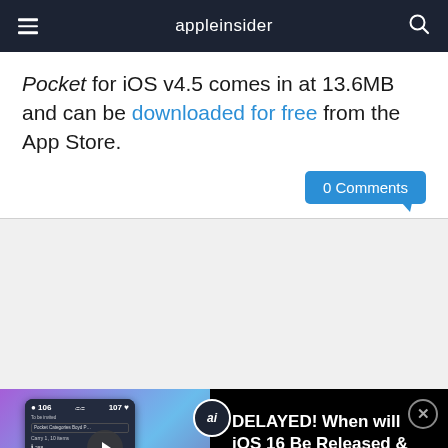appleinsider
Pocket for iOS v4.5 comes in at 13.6MB and can be downloaded for free from the App Store.
0 Comments
[Figure (screenshot): Advertisement placeholder area (gray background)]
[Figure (screenshot): Video thumbnail showing iOS 16 video promotion with phone screen showing 106 and 107 numbers, overlay text 'Not in iOS 16!?' and video info panel reading 'DELAYED! When will iOS 16 Be Released & What Features Are Missing?']